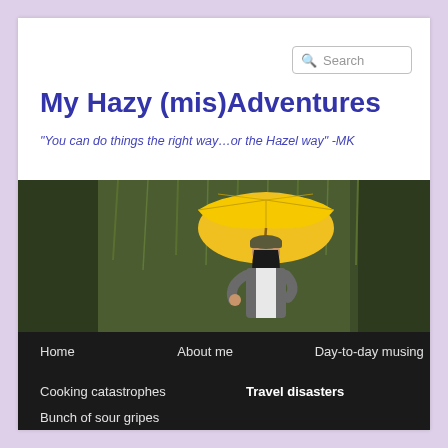Search
My Hazy (mis)Adventures
"You can do things the right way…or the Hazel way" -MK
[Figure (photo): Woman holding a yellow umbrella outdoors in a green/mossy natural setting, wearing a grey cap and jacket]
Home
About me
Day-to-day musing
Cooking catastrophes
Travel disasters
Bunch of sour gripes